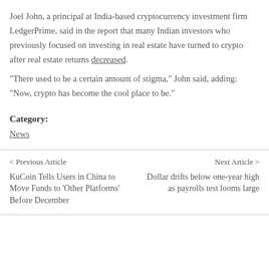Joel John, a principal at India-based cryptocurrency investment firm LedgerPrime, said in the report that many Indian investors who previously focused on investing in real estate have turned to crypto after real estate returns decreased.
“There used to be a certain amount of stigma,” John said, adding: “Now, crypto has become the cool place to be.”
Category:
News
< Previous Article
KuCoin Tells Users in China to Move Funds to ‘Other Platforms’ Before December
Next Article >
Dollar drifts below one-year high as payrolls test looms large